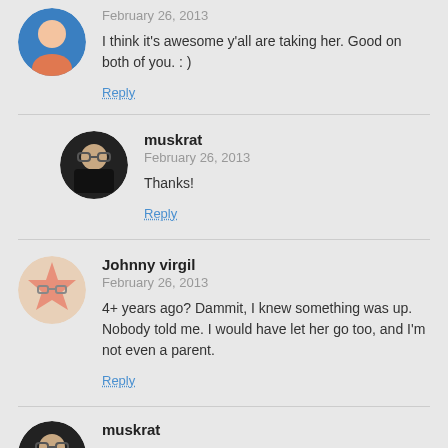February 26, 2013
I think it's awesome y'all are taking her. Good on both of you. : )
Reply
muskrat
February 26, 2013
Thanks!
Reply
Johnny virgil
February 26, 2013
4+ years ago? Dammit, I knew something was up. Nobody told me. I would have let her go too, and I'm not even a parent.
Reply
muskrat